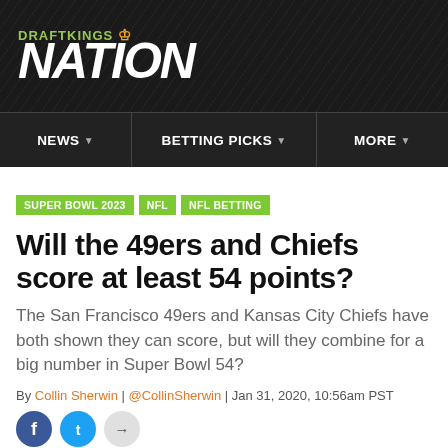DraftKings Nation
NEWS | BETTING PICKS | MORE
SUPER BOWL 2023  NFL  NFL BETTING
Will the 49ers and Chiefs score at least 54 points?
The San Francisco 49ers and Kansas City Chiefs have both shown they can score, but will they combine for a big number in Super Bowl 54?
By Collin Sherwin | @CollinSherwin | Jan 31, 2020, 10:56am PST